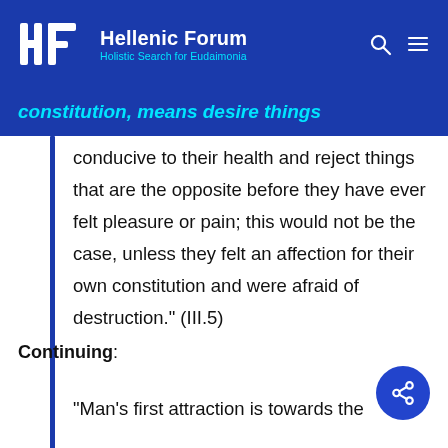Hellenic Forum — Holistic Search for Eudaimonia
constitution, means desire things conducive to their health and reject things that are the opposite before they have ever felt pleasure or pain; this would not be the case, unless they felt an affection for their own constitution and were afraid of destruction." (III.5)
Continuing:
"Man's first attraction is towards the things...